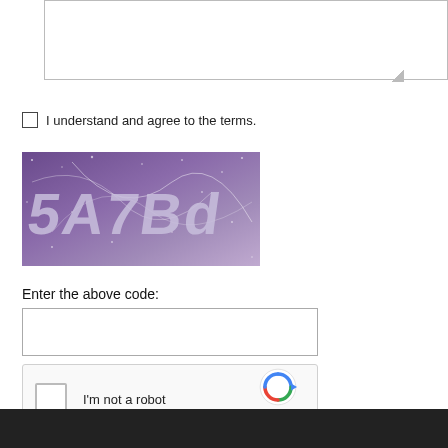[Figure (other): Empty textarea input box with resize handle]
I understand and agree to the terms.
[Figure (other): CAPTCHA image with purple/violet background showing distorted alphanumeric code '5A7Bd' with stars and lines overlay]
Enter the above code:
[Figure (other): Empty text input field for entering CAPTCHA code]
[Figure (other): reCAPTCHA widget with checkbox and 'I'm not a robot' label, reCAPTCHA logo, Privacy and Terms links]